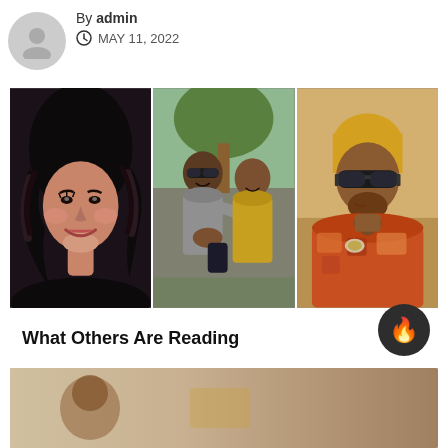By admin  MAY 11, 2022
[Figure (photo): Three-panel photo collage: left panel shows a young woman with curly black hair smiling; center panel shows a man and woman posing together outdoors; right panel shows a man with blonde hair and sunglasses wearing an orange patterned shirt.]
What Others Are Reading
[Figure (photo): Thumbnail image at the bottom of the page]